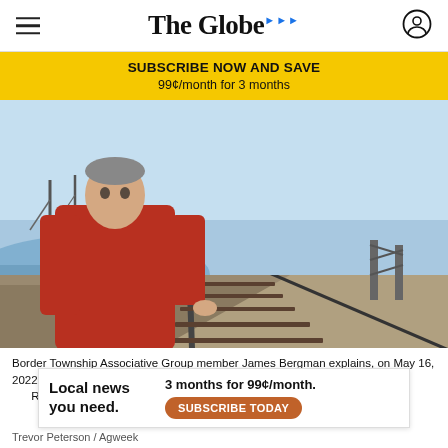The Globe
SUBSCRIBE NOW AND SAVE
99¢/month for 3 months
[Figure (photo): Man in red sweater standing beside a railroad track near flooded land, pointing at the rails, with bare trees and a metal bridge structure visible in the background.]
Border Township Associative Group member James Bergman explains, on May 16, 2022, how the 1905 railroad bridge near Oslo, Minnesota, acts as a dam across the Red River.
Trevor Peterson / Agweek
[Figure (infographic): Ad overlay: 'Local news you need.' with offer '3 months for 99¢/month.' and 'SUBSCRIBE TODAY' button.]